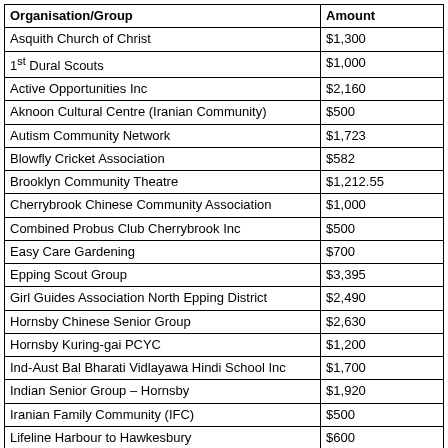| Organisation/Group | Amount |
| --- | --- |
| Asquith Church of Christ | $1,300 |
| 1st Dural Scouts | $1,000 |
| Active Opportunities Inc | $2,160 |
| Aknoon Cultural Centre (Iranian Community) | $500 |
| Autism Community Network | $1,723 |
| Blowfly Cricket Association | $582 |
| Brooklyn Community Theatre | $1,212.55 |
| Cherrybrook Chinese Community Association | $1,000 |
| Combined Probus Club Cherrybrook Inc | $500 |
| Easy Care Gardening | $700 |
| Epping Scout Group | $3,395 |
| Girl Guides Association North Epping District | $2,490 |
| Hornsby Chinese Senior Group | $2,630 |
| Hornsby Kuring-gai PCYC | $1,200 |
| Ind-Aust Bal Bharati Vidlayawa Hindi School Inc | $1,700 |
| Indian Senior Group – Hornsby | $1,920 |
| Iranian Family Community (IFC) | $500 |
| Lifeline Harbour to Hawkesbury | $600 |
| Multicultural Integration Community Support Inc | $1,200 |
| Namaste Indian Community | $1,000 |
| Parkinson's NSW – Hornsby Kuring-gai Support Group | $1,150 |
| Russian Community Group | $2,000 |